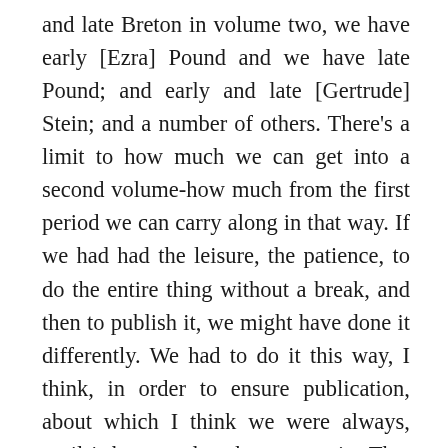and late Breton in volume two, we have early [Ezra] Pound and we have late Pound; and early and late [Gertrude] Stein; and a number of others. There's a limit to how much we can get into a second volume-how much from the first period we can carry along in that way. If we had had the leisure, the patience, to do the entire thing without a break, and then to publish it, we might have done it differently. We had to do it this way, I think, in order to ensure publication, about which I think we were always, until it happened, rather uncertain. That means I kept on thinking, 'Something is going to fuck this up, let's get something out'-so, rather than working on a single sixteen-hundred pages...